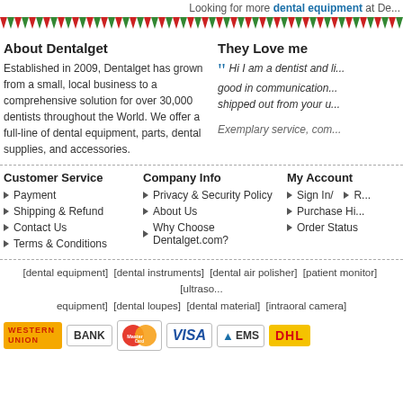Looking for more dental equipment at Den...
About Dentalget
Established in 2009, Dentalget has grown from a small, local business to a comprehensive solution for over 30,000 dentists throughout the World. We offer a full-line of dental equipment, parts, dental supplies, and accessories.
They Love me
Hi I am a dentist and li... good in communication... shipped out from your u...
Exemplary service, com...
Customer Service
Payment
Shipping & Refund
Contact Us
Terms & Conditions
Company Info
Privacy & Security Policy
About Us
Why Choose Dentalget.com?
My Account
Sign In / R...
Purchase Hi...
Order Status
[dental equipment] [dental instruments] [dental air polisher] [patient monitor] [ultraso... equipment] [dental loupes] [dental material] [intraoral camera]
[Figure (logo): Western Union, Bank, MasterCard, Visa, EMS, DHL payment logos]